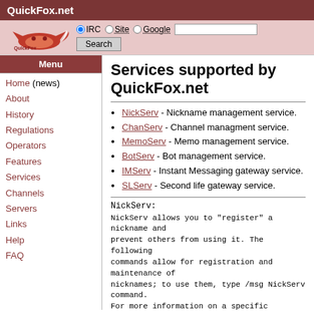QuickFox.net
Services supported by QuickFox.net
NickServ - Nickname management service.
ChanServ - Channel managment service.
MemoServ - Memo management service.
BotServ - Bot management service.
IMServ - Instant Messaging gateway service.
SLServ - Second life gateway service.
NickServ:
NickServ allows you to "register" a nickname and prevent others from using it. The following commands allow for registration and maintenance of nicknames; to use them, type /msg NickServ command.
For more information on a specific command, type /msg NickServ HELP command.
REGISTER Register a nickname
GROUP Join a group
IDENTIFY Identify yourself with your password
ACCESS Modify the list of authorized addresses
SET Set options, including kill protection